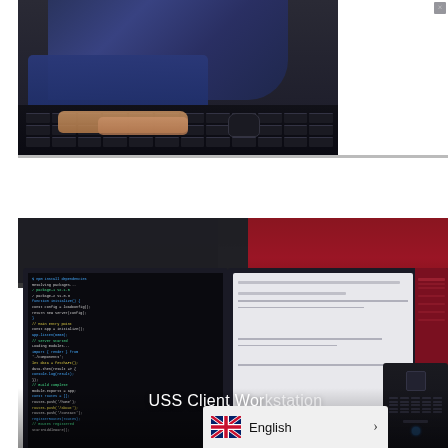[Figure (photo): Top composite image: left side shows a person's hands typing on a dark keyboard at a desk, wearing a dark blue shirt; right side shows a partial view of a drone or desk lamp with black arms against a light grey background.]
[Figure (screenshot): Bottom composite image: shows two computer monitors with code on the left monitor (dark background with blue/cyan terminal-style code) and a document/app interface on the right monitor (light grey screen with dark red sidebar), plus a black PC tower on the far right. Text overlay reads 'USS Client Wor...' (partially visible). A language selector bar at the bottom shows English with a UK/GB flag icon and a chevron arrow.]